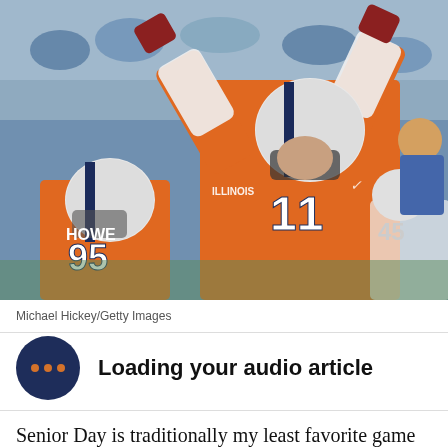[Figure (photo): Two Illinois Fighting Illini football players in orange uniforms celebrating on the field. Player #95 (HOWE) in foreground, player #11 in background with arms raised. Crowd visible in background.]
Michael Hickey/Getty Images
Loading your audio article
Senior Day is traditionally my least favorite game of the